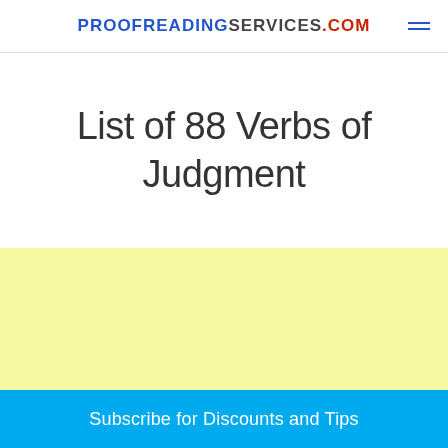PROOFREADINGSERVICES.COM
List of 88 Verbs of Judgment
[Figure (other): Yellow banner advertisement area]
Subscribe for Discounts and Tips